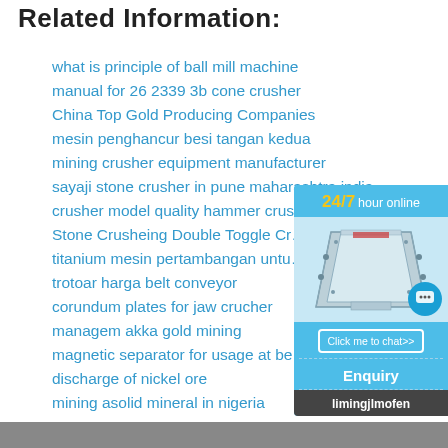Related Information:
what is principle of ball mill machine
manual for 26 2339 3b cone crusher
China Top Gold Producing Companies
mesin penghancur besi tangan kedua
mining crusher equipment manufacturer
sayaji stone crusher in pune maharashtra india
crusher model quality hammer crus…
Stone Crusheing Double Toggle Cr…
titanium mesin pertambangan untu…
trotoar harga belt conveyor
corundum plates for jaw crucher
managem akka gold mining
magnetic separator for usage at be…
discharge of nickel ore
mining asolid mineral in nigeria
[Figure (infographic): 24/7 hour online sidebar widget with mining machine photo, chat bubble, 'Click me to chat>>' button, 'Enquiry' section, and 'limingjlmofen' footer]